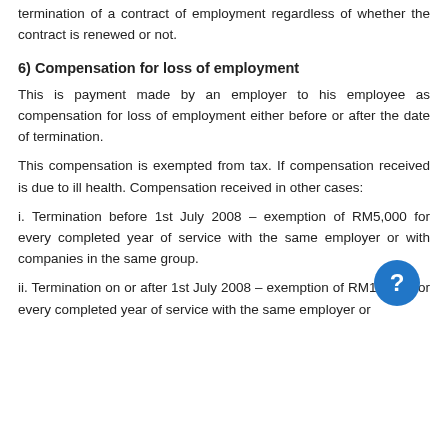termination of a contract of employment regardless of whether the contract is renewed or not.
6) Compensation for loss of employment
This is payment made by an employer to his employee as compensation for loss of employment either before or after the date of termination.
This compensation is exempted from tax. If compensation received is due to ill health. Compensation received in other cases:
i. Termination before 1st July 2008 – exemption of RM5,000 for every completed year of service with the same employer or with companies in the same group.
ii. Termination on or after 1st July 2008 – exemption of RM10,000 for every completed year of service with the same employer or with companies in the same group.